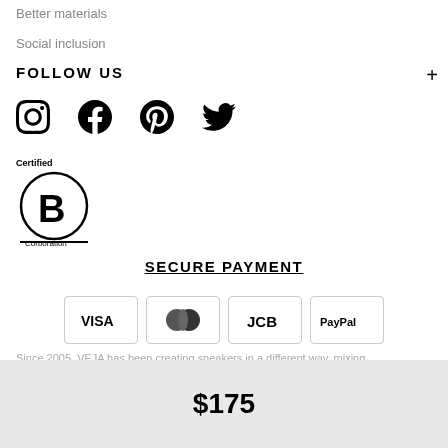Better materials
Social inclusion
FOLLOW US
[Figure (illustration): Social media icons: Instagram, Facebook, Pinterest, Twitter]
[Figure (logo): Certified B Corporation logo]
SECURE PAYMENT
[Figure (illustration): Payment method icons: VISA, Mastercard, JCB, PayPal]
Since 2005, VEJA has been creating sneakers in a different way, mixing
$175